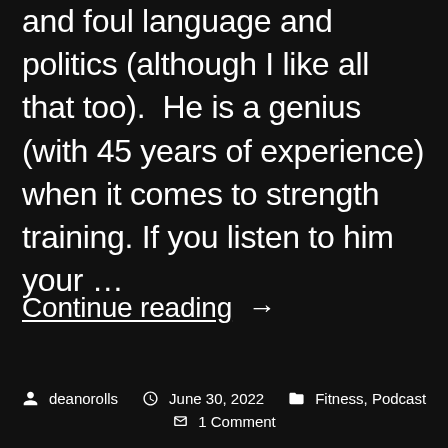and foul language and politics (although I like all that too).  He is a genius (with 45 years of experience) when it comes to strength training. If you listen to him your …
Continue reading →
deanorolls   June 30, 2022   Fitness, Podcast   1 Comment